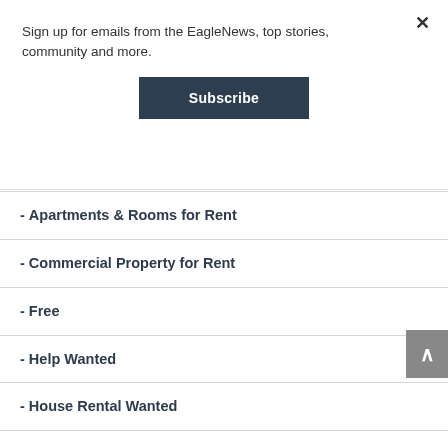Sign up for emails from the EagleNews, top stories, community and more.
Subscribe
- Apartments & Rooms for Rent
- Commercial Property for Rent
- Free
- Help Wanted
- House Rental Wanted
- Houses & Property for Sale
- Houses for Rent